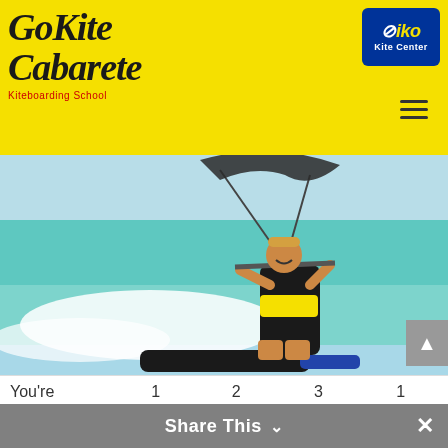[Figure (logo): GoKite Cabarete Kiteboarding School logo in black italic script on yellow background, with IKO Kite Center badge in blue top right]
[Figure (photo): A smiling woman kiteboarding over turquoise water with waves, holding kite bar, wearing black harness]
| You're getting: | 1 day | 2 days | 3 days | 1 w |
| --- | --- | --- | --- | --- |
| Photos and videos of you taking... |  |  |  |  |
Share This